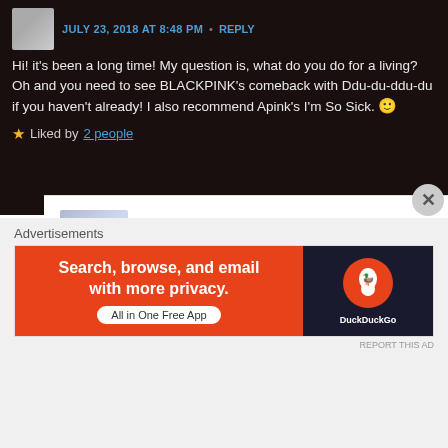JULY 23, 2018 AT 8:48 PM  •  REPLY
Hi! it's been a long time! My question is, what do you do for a living? Oh and you need to see BLACKPINK's comeback with Ddu-du-ddu-du if you haven't already! I also recommend Apink's I'm So Sick. 🙂
Liked by 2 people
kbopsinkpop
JULY 24, 2018 AT 8:35 PM  •  REPLY
I'm actually a blog writer! I basically work for a digital marketing agency and businesses hire us to do their digital marketing so I write their blogs for their websites. 🙂
I've been dying to check out Blackpink's new comeback! I'll have to check out Apink too!
Advertisements
[Figure (other): DuckDuckGo advertisement banner: Search, browse, and email with more privacy. All in One Free App. Orange and dark background with DuckDuckGo logo.]